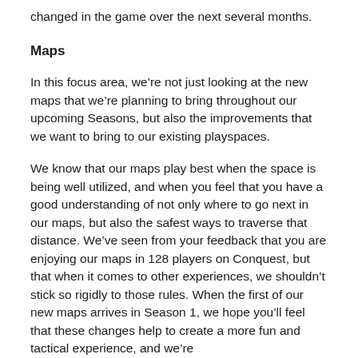changed in the game over the next several months.
Maps
In this focus area, we're not just looking at the new maps that we're planning to bring throughout our upcoming Seasons, but also the improvements that we want to bring to our existing playspaces.
We know that our maps play best when the space is being well utilized, and when you feel that you have a good understanding of not only where to go next in our maps, but also the safest ways to traverse that distance. We've seen from your feedback that you are enjoying our maps in 128 players on Conquest, but that when it comes to other experiences, we shouldn't stick so rigidly to those rules. When the first of our new maps arrives in Season 1, we hope you'll feel that these changes help to create a more fun and tactical experience, and we're